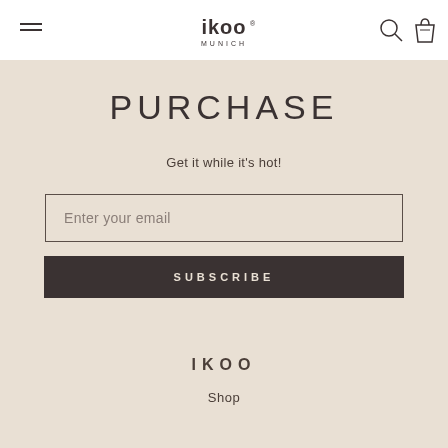[Figure (logo): ikoo Munich brand logo in the navigation bar, with hamburger menu icon on left and search/bag icons on right]
PURCHASE
Get it while it's hot!
Enter your email
SUBSCRIBE
IKOO
Shop